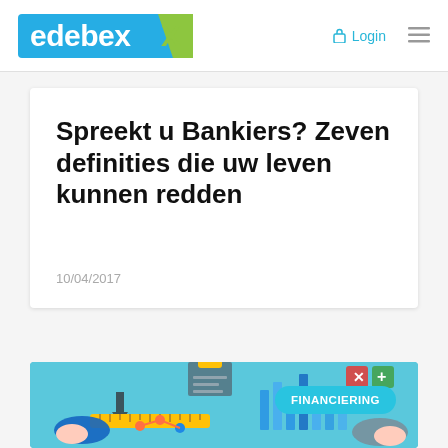edebex | Login
Spreekt u Bankiers? Zeven definities die uw leven kunnen redden
10/04/2017
[Figure (illustration): Financial illustration showing business hands exchanging documents/rulers with bar charts, arrows, and a FINANCIERING badge overlay on a teal/blue background]